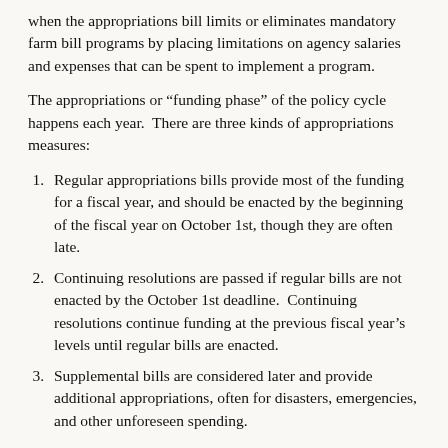when the appropriations bill limits or eliminates mandatory farm bill programs by placing limitations on agency salaries and expenses that can be spent to implement a program.
The appropriations or “funding phase” of the policy cycle happens each year.  There are three kinds of appropriations measures:
Regular appropriations bills provide most of the funding for a fiscal year, and should be enacted by the beginning of the fiscal year on October 1st, though they are often late.
Continuing resolutions are passed if regular bills are not enacted by the October 1st deadline.  Continuing resolutions continue funding at the previous fiscal year’s levels until regular bills are enacted.
Supplemental bills are considered later and provide additional appropriations, often for disasters, emergencies, and other unforeseen spending.
Annual Appropriations Cycle